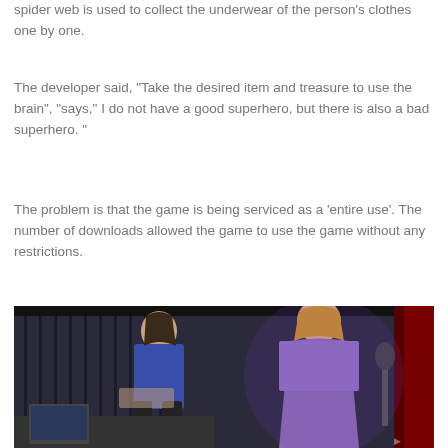spider web is used to collect the underwear of the person's clothes one by one.
The developer said, “Take the desired item and treasure to use the brain”, “says,” I do not have a good superhero, but there is also a bad superhero. ”
The problem is that the game is being serviced as a ‘entire use’. The number of downloads allowed the game to use the game without any restrictions.
[Figure (photo): Screenshot or photo showing two people in a room with purple/blue lighting. One person on the left wearing a blue floral top, one person on the right wearing a purple fitted dress. A laptop and desk visible in the foreground. A microphone stand visible on the right. Red accent lighting on far right.]